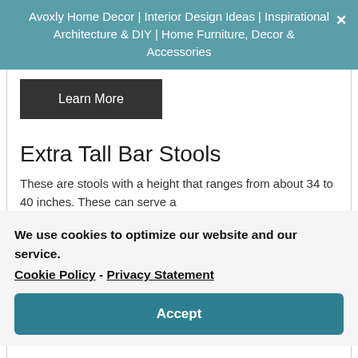Avoxly Home Decor | Interior Design Ideas | Inspirational Architecture & DIY | Home Furniture, Decor & Accessories
Learn More
Extra Tall Bar Stools
These are stools with a height that ranges from about 34 to 40 inches. These can serve a
We use cookies to optimize our website and our service.  Cookie Policy - Privacy Statement
Accept
[Figure (photo): Partial view of a bar stool image at the bottom of the page]